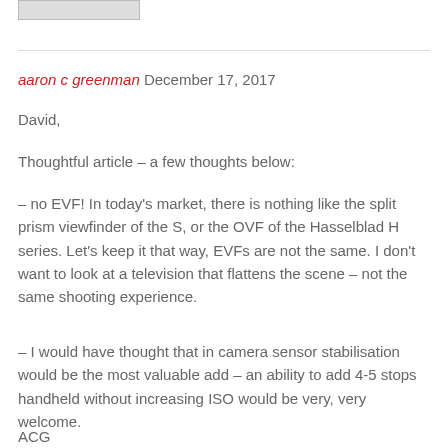[Figure (other): Small image placeholder at top left]
aaron c greenman December 17, 2017
David,
Thoughtful article – a few thoughts below:
– no EVF! In today's market, there is nothing like the split prism viewfinder of the S, or the OVF of the Hasselblad H series. Let's keep it that way, EVFs are not the same. I don't want to look at a television that flattens the scene – not the same shooting experience.
– I would have thought that in camera sensor stabilisation would be the most valuable add – an ability to add 4-5 stops handheld without increasing ISO would be very, very welcome.
ACG